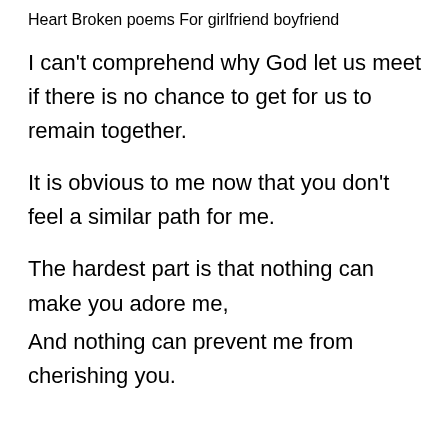Heart Broken poems For girlfriend boyfriend
I can't comprehend why God let us meet if there is no chance to get for us to remain together.
It is obvious to me now that you don't feel a similar path for me.
The hardest part is that nothing can make you adore me,
And nothing can prevent me from cherishing you.